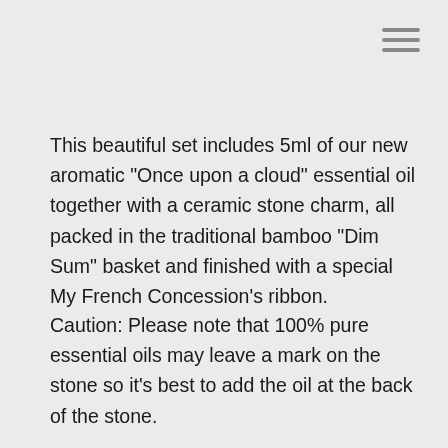[Figure (other): Hamburger menu icon with three horizontal lines in top-right corner]
This beautiful set includes 5ml of our new aromatic “Once upon a cloud” essential oil together with a ceramic stone charm, all packed in the traditional bamboo “Dim Sum” basket and finished with a special My French Concession’s ribbon.
Caution: Please note that 100% pure essential oils may leave a mark on the stone so it’s best to add the oil at the back of the stone.
1
ADD TO BAG
SKU: AS1-BB  Categories: Bamboo Basket Aroma Stone, New In
Shipping